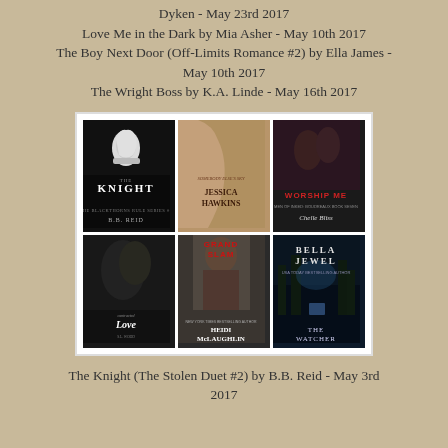Dyken - May 23rd 2017
Love Me in the Dark by Mia Asher - May 10th 2017
The Boy Next Door (Off-Limits Romance #2) by Ella James - May 10th 2017
The Wright Boss by K.A. Linde - May 16th 2017
[Figure (photo): A 3x2 grid of book covers: The Knight by B.B. Reid (black cover with chess knight), Somebody Else's Sky by Jessica Hawkins (tan/brown cover with man), Worship Me by Chelle Bliss (dark cover with couple), Contracted Love by S.L. Wood (dark cover with couple), Grand Slam by Heidi McLaughlin (shirtless man), The Watcher by Bella Jewel (dark forest cover)]
The Knight (The Stolen Duet #2) by B.B. Reid - May 3rd 2017